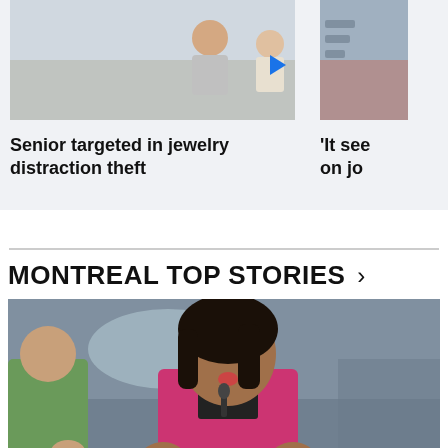[Figure (photo): Thumbnail photo of elderly person being helped, with blue play button overlay, partial crop]
Senior targeted in jewelry distraction theft
[Figure (photo): Partial thumbnail of another news story on the right, partially cropped]
'It see on jo
MONTREAL TOP STORIES >
[Figure (photo): Photo of a woman in a pink blazer speaking at a microphone, gesturing with both hands, with another person in green partially visible on the left]